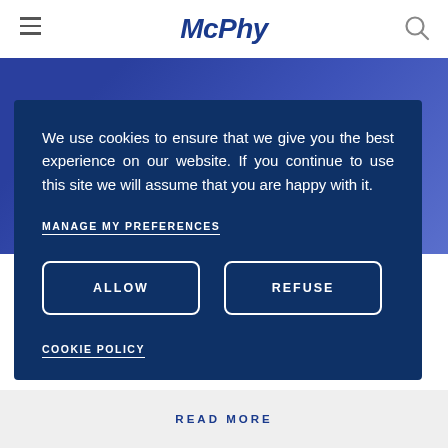McPhy
[Figure (logo): McPhy logo banner with large white italic text on dark blue background]
We use cookies to ensure that we give you the best experience on our website. If you continue to use this site we will assume that you are happy with it.
MANAGE MY PREFERENCES
ALLOW
REFUSE
COOKIE POLICY
READ MORE